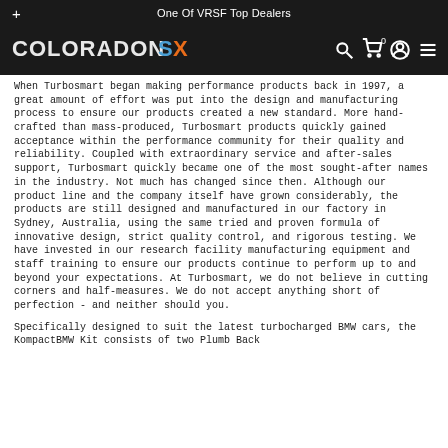+ One Of VRSF Top Dealers
[Figure (logo): ColoradonSX logo in white and blue/orange text on dark background with navigation icons (search, cart with 0, account, hamburger menu)]
When Turbosmart began making performance products back in 1997, a great amount of effort was put into the design and manufacturing process to ensure our products created a new standard. More hand-crafted than mass-produced, Turbosmart products quickly gained acceptance within the performance community for their quality and reliability. Coupled with extraordinary service and after-sales support, Turbosmart quickly became one of the most sought-after names in the industry. Not much has changed since then. Although our product line and the company itself have grown considerably, the products are still designed and manufactured in our factory in Sydney, Australia, using the same tried and proven formula of innovative design, strict quality control, and rigorous testing. We have invested in our research facility manufacturing equipment and staff training to ensure our products continue to perform up to and beyond your expectations. At Turbosmart, we do not believe in cutting corners and half-measures. We do not accept anything short of perfection - and neither should you.
Specifically designed to suit the latest turbocharged BMW cars, the KompactBMW Kit consists of two Plumb Back